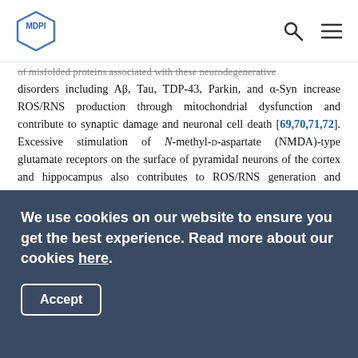MDPI logo with search and menu icons
of misfolded proteins associated with these neurodegenerative disorders including Aβ, Tau, TDP-43, Parkin, and α-Syn increase ROS/RNS production through mitochondrial dysfunction and contribute to synaptic damage and neuronal cell death [69,70,71,72]. Excessive stimulation of N-methyl-D-aspartate (NMDA)-type glutamate receptors on the surface of pyramidal neurons of the cortex and hippocampus also contributes to ROS/RNS generation and subsequent synaptic injury and neuronal loss [71,72]. Many research groups including our own have reported that CA exerts a protective effect on neuronal cells through their antioxidant mechanisms in model systems of AD and PD [66,67,68]. There is strong evidence to suggest that the generation of oxidative and nitrosative stress contributes to
We use cookies on our website to ensure you get the best experience. Read more about our cookies here.
Accept